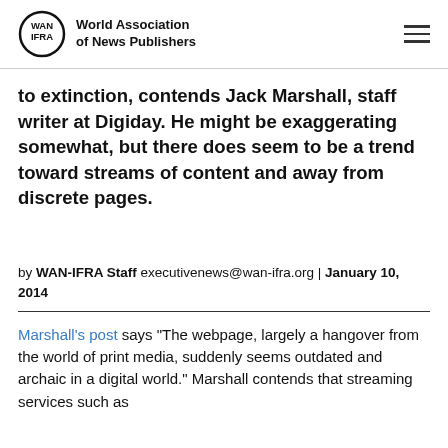World Association of News Publishers
to extinction, contends Jack Marshall, staff writer at Digiday. He might be exaggerating somewhat, but there does seem to be a trend toward streams of content and away from discrete pages.
by WAN-IFRA Staff executivenews@wan-ifra.org | January 10, 2014
Marshall's post says “The webpage, largely a hangover from the world of print media, suddenly seems outdated and archaic in a digital world.” Marshall contends that streaming services such as